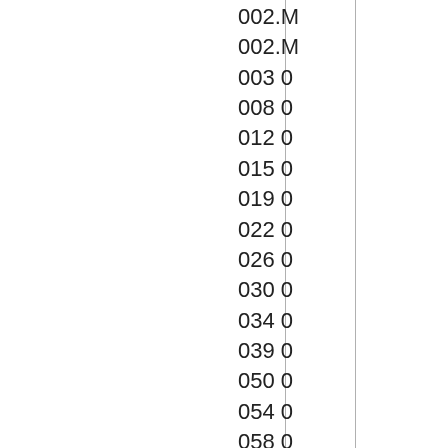|  |  | 002.M |
|  |  | 002.M |
|  |  | 003 0 |
|  |  | 008 0 |
|  |  | 012 0 |
|  |  | 015 0 |
|  |  | 019 0 |
|  |  | 022 0 |
|  |  | 026 0 |
|  |  | 030 0 |
|  |  | 034 0 |
|  |  | 039 0 |
|  |  | 050 0 |
|  |  | 054 0 |
|  |  | 058 0 |
|  |  | 501.X |
|  |  | 502.X |
|  |  | 503.X |
|  |  | 504.X |